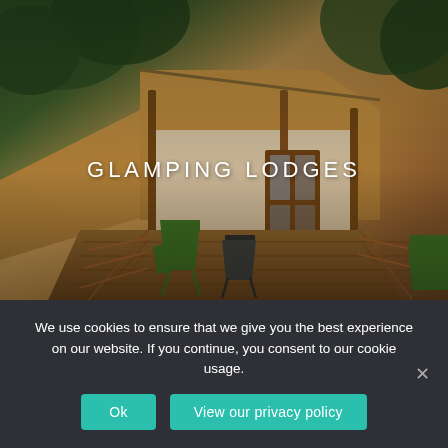[Figure (photo): Glamping lodge with canvas tent roof, wooden deck with steps and railing, green Adirondack chairs, and a wooden framed glass door entrance, surrounded by trees]
GLAMPING LODGES
We use cookies to ensure that we give you the best experience on our website. If you continue, you consent to our cookie usage.
Ok   View our privacy policy